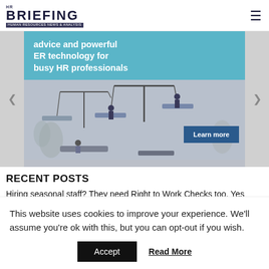HR BRIEFING — HUMAN RESOURCES NEWS & ANALYSIS
[Figure (illustration): Advertisement banner for HR ER technology service. Teal top section with text 'advice and powerful ER technology for busy HR professionals'. Bottom section shows illustrated figures on balance scales. Blue 'Learn more' button.]
RECENT POSTS
Hiring seasonal staff? They need Right to Work Checks too. Yes
This website uses cookies to improve your experience. We'll assume you're ok with this, but you can opt-out if you wish.
Accept   Read More